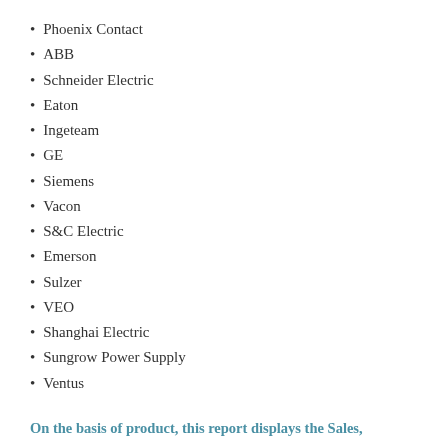Phoenix Contact
ABB
Schneider Electric
Eaton
Ingeteam
GE
Siemens
Vacon
S&C Electric
Emerson
Sulzer
VEO
Shanghai Electric
Sungrow Power Supply
Ventus
On the basis of product, this report displays the Sales,